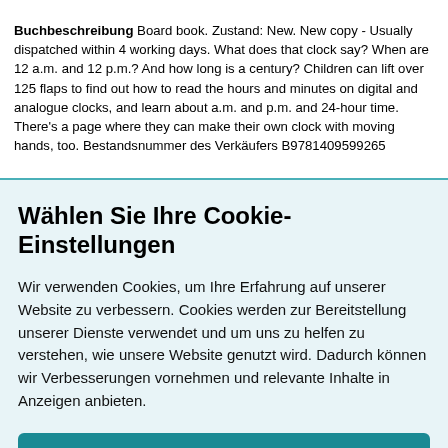Buchbeschreibung Board book. Zustand: New. New copy - Usually dispatched within 4 working days. What does that clock say? When are 12 a.m. and 12 p.m.? And how long is a century? Children can lift over 125 flaps to find out how to read the hours and minutes on digital and analogue clocks, and learn about a.m. and p.m. and 24-hour time. There's a page where they can make their own clock with moving hands, too. Bestandsnummer des Verkäufers B9781409599265
Wählen Sie Ihre Cookie-Einstellungen
Wir verwenden Cookies, um Ihre Erfahrung auf unserer Website zu verbessern. Cookies werden zur Bereitstellung unserer Dienste verwendet und um uns zu helfen zu verstehen, wie unsere Website genutzt wird. Dadurch können wir Verbesserungen vornehmen und relevante Inhalte in Anzeigen anbieten.
Cookies akzeptieren
Cookies anpassen